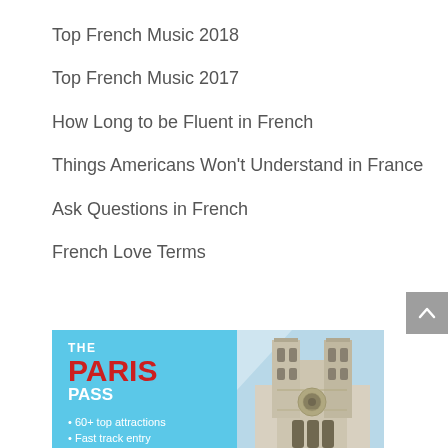Top French Music 2018
Top French Music 2017
How Long to be Fluent in French
Things Americans Won't Understand in France
Ask Questions in French
French Love Terms
[Figure (infographic): The Paris Pass advertisement showing Notre Dame cathedral with text: THE PARIS PASS, 60+ top attractions, Fast track entry]